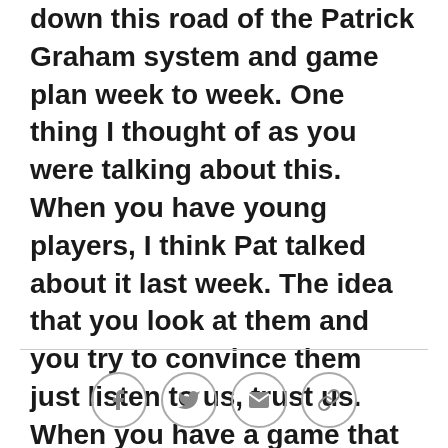down this road of the Patrick Graham system and game plan week to week. One thing I thought of as you were talking about this. When you have young players, I think Pat talked about it last week. The idea that you look at them and you try to convince them just listen to us, trust us. When you have a game that played out almost exactly how it was laid out for you guys defensively on Sunday, how much different is it in the meetings this morning when you guys get together and you start rolling out that game plan? Are guys more bought in than they were? Is there more validation for the guys? Maybe not for you because you knew what you were getting into? For guys to look at it and say you know what, maybe they're onto something here? Maybe this is ready to work.
[Figure (other): Row of four social sharing icon buttons: Facebook, Twitter, Email, Link/chain]